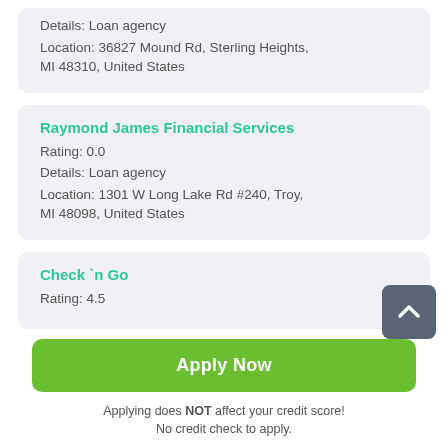Details: Loan agency
Location: 36827 Mound Rd, Sterling Heights, MI 48310, United States
Raymond James Financial Services
Rating: 0.0
Details: Loan agency
Location: 1301 W Long Lake Rd #240, Troy, MI 48098, United States
Check `n Go
Rating: 4.5
Apply Now
Applying does NOT affect your credit score! No credit check to apply.